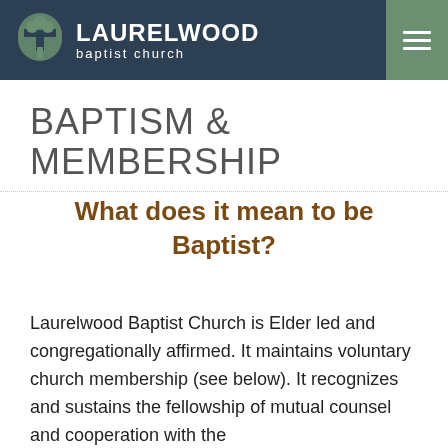LAURELWOOD baptist church
BAPTISM & MEMBERSHIP
What does it mean to be Baptist?
Laurelwood Baptist Church is Elder led and congregationally affirmed. It maintains voluntary church membership (see below). It recognizes and sustains the fellowship of mutual counsel and cooperation with the